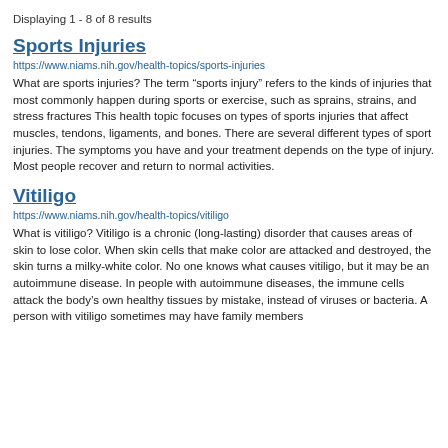Displaying 1 - 8 of 8 results
Sports Injuries
https://www.niams.nih.gov/health-topics/sports-injuries
What are sports injuries? The term “sports injury” refers to the kinds of injuries that most commonly happen during sports or exercise, such as sprains, strains, and stress fractures This health topic focuses on types of sports injuries that affect muscles, tendons, ligaments, and bones. There are several different types of sport injuries. The symptoms you have and your treatment depends on the type of injury. Most people recover and return to normal activities.
Vitiligo
https://www.niams.nih.gov/health-topics/vitiligo
What is vitiligo? Vitiligo is a chronic (long-lasting) disorder that causes areas of skin to lose color. When skin cells that make color are attacked and destroyed, the skin turns a milky-white color. No one knows what causes vitiligo, but it may be an autoimmune disease. In people with autoimmune diseases, the immune cells attack the body’s own healthy tissues by mistake, instead of viruses or bacteria. A person with vitiligo sometimes may have family members